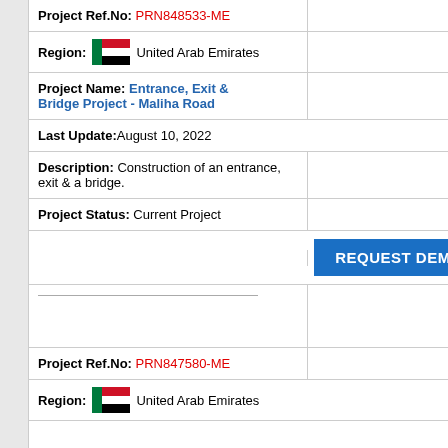Project Ref.No: PRN848533-ME
Region: United Arab Emirates
Project Name: Entrance, Exit & Bridge Project - Maliha Road
Last Update: August 10, 2022
Description: Construction of an entrance, exit & a bridge.
Project Status: Current Project
REQUEST DEMO
Project Ref.No: PRN847580-ME
Region: United Arab Emirates